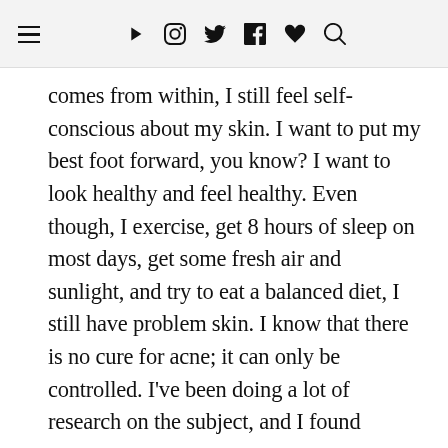≡ ▶ 📷 🐦 f ♥ 🔍
comes from within, I still feel self-conscious about my skin. I want to put my best foot forward, you know? I want to look healthy and feel healthy. Even though, I exercise, get 8 hours of sleep on most days, get some fresh air and sunlight, and try to eat a balanced diet, I still have problem skin. I know that there is no cure for acne; it can only be controlled. I've been doing a lot of research on the subject, and I found